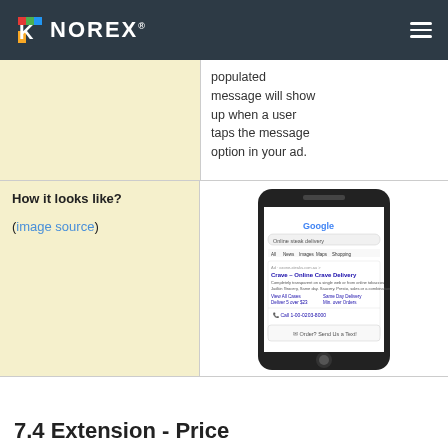KNOREX
populated message will show up when a user taps the message option in your ad.
How it looks like? (image source)
[Figure (photo): Screenshot of a mobile phone showing a Google search results page with an ad that has a messaging extension option reading 'Order? Send Us a Text!']
7.4 Extension - Price